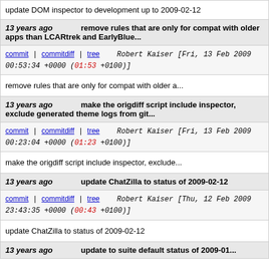update DOM inspector to development up to 2009-02-12
13 years ago   remove rules that are only for compat with older apps than LCARtrek and EarlyBlue...
commit | commitdiff | tree   Robert Kaiser [Fri, 13 Feb 2009 00:53:34 +0000 (01:53 +0100)]
remove rules that are only for compat with older a...
13 years ago   make the origdiff script include inspector, exclude generated theme logs from git...
commit | commitdiff | tree   Robert Kaiser [Fri, 13 Feb 2009 00:23:04 +0000 (01:23 +0100)]
make the origdiff script include inspector, exclude...
13 years ago   update ChatZilla to status of 2009-02-12
commit | commitdiff | tree   Robert Kaiser [Thu, 12 Feb 2009 23:43:35 +0000 (00:43 +0100)]
update ChatZilla to status of 2009-02-12
13 years ago   update to suite default status of 2009-01...